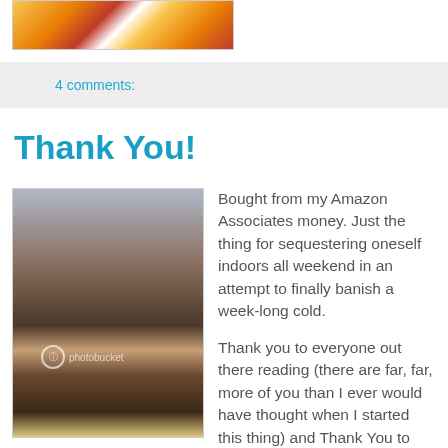[Figure (photo): Partial top image showing colorful illustration with yellow and red tones, cropped at top of page]
4 comments:
Thank You!
[Figure (photo): Person holding a book up in front of their face, indoors. Photobucket watermark visible.]
Bought from my Amazon Associates money. Just the thing for sequestering oneself indoors all weekend in an attempt to finally banish a week-long cold.

Thank you to everyone out there reading (there are far, far, more of you than I ever would have thought when I started this thing) and Thank You to those that have bought